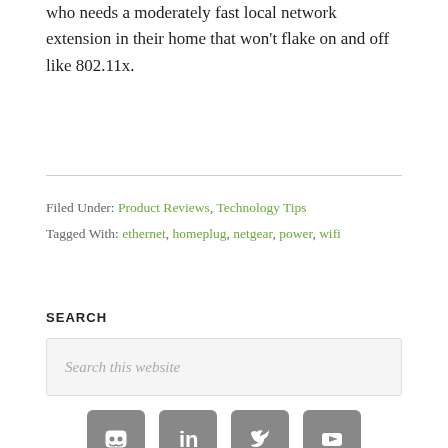who needs a moderately fast local network extension in their home that won't flake on and off like 802.11x.
Filed Under: Product Reviews, Technology Tips
Tagged With: ethernet, homeplug, netgear, power, wifi
SEARCH
Search this website
[Figure (infographic): Four social media icon buttons (GitHub/Discord, LinkedIn, Twitter, YouTube) displayed as gray rounded square icons with white symbols.]